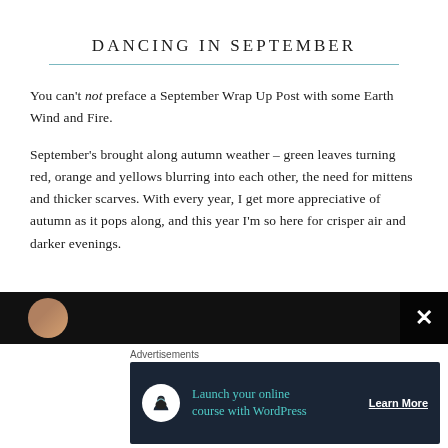DANCING IN SEPTEMBER
You can’t not preface a September Wrap Up Post with some Earth Wind and Fire.
September’s brought along autumn weather – green leaves turning red, orange and yellows blurring into each other, the need for mittens and thicker scarves. With every year, I get more appreciative of autumn as it pops along, and this year I’m so here for crisper air and darker evenings.
[Figure (photo): Dark background strip with partial image of a person, with a close/X button overlay on the right side.]
Advertisements
[Figure (infographic): Advertisement banner: dark navy background with white circular icon (tree/person silhouette), teal text 'Launch your online course with WordPress', and a 'Learn More' button in white underlined text.]